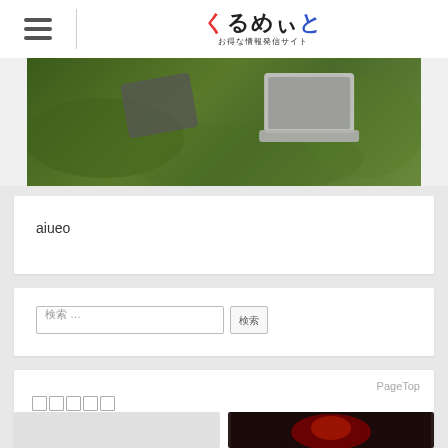くるめいと お得な情報発信サイト
[Figure (photo): Laptop computer on green grass background]
aiueo
検索 ... 検索
PageTop
□□□□□
[Figure (photo): Two thumbnail images in a grid row]